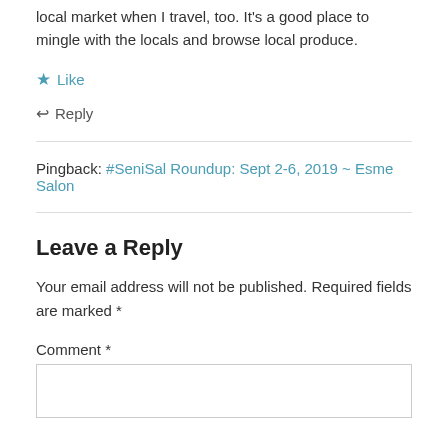local market when I travel, too. It's a good place to mingle with the locals and browse local produce.
★ Like
↩ Reply
Pingback: #SeniSal Roundup: Sept 2-6, 2019 ~ Esme Salon
Leave a Reply
Your email address will not be published. Required fields are marked *
Comment *